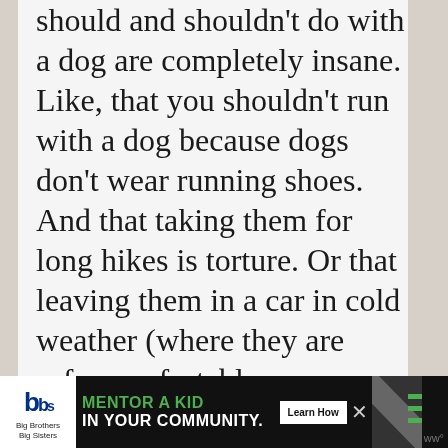should and shouldn't do with a dog are completely insane. Like, that you shouldn't run with a dog because dogs don't wear running shoes. And that taking them for long hikes is torture. Or that leaving them in a car in cold weather (where they are safe, comfortable, warm, and happy) is cruel and dangerous. It's insane.

My dogs are my original children. I love them to pieces
[Figure (screenshot): Advertisement banner for Big Brothers Big Sisters: 'MENTOR A KID IN YOUR COMMUNITY.' with a Learn How button and close X button]